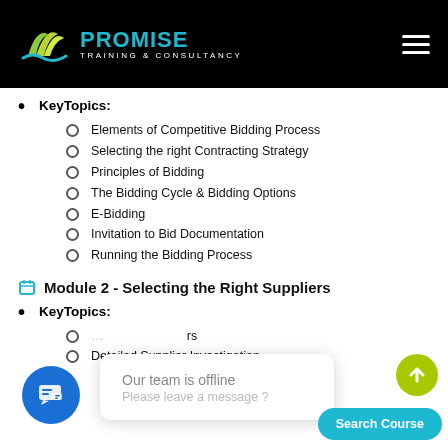Promise Training & Consultancy
KeyTopics:
Elements of Competitive Bidding Process
Selecting the right Contracting Strategy
Principles of Bidding
The Bidding Cycle & Bidding Options
E-Bidding
Invitation to Bid Documentation
Running the Bidding Process
Module 2 - Selecting the Right Suppliers
KeyTopics:
Detailed Supplier Investigation